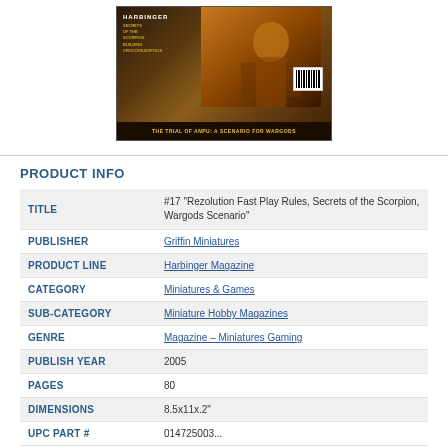[Figure (photo): Book/magazine cover image for Harbinger Magazine #17, featuring a warrior figure in armor with text 'Secrets of the Scorpion', 'Building Crocodileopolis', and 'The Trial of Anpu: A Scenario for Wargods']
| TITLE | #17 "Rezolution Fast Play Rules, Secrets of the Scorpion, Wargods Scenario" |
| PUBLISHER | Griffin Miniatures |
| PRODUCT LINE | Harbinger Magazine |
| CATEGORY | Miniatures & Games |
| SUB-CATEGORY | Miniature Hobby Magazines |
| GENRE | Magazine - Miniatures Gaming |
| PUBLISH YEAR | 2005 |
| PAGES | 80 |
| DIMENSIONS | 8.5x11x.2" |
| UPC PART # | 014725003... |